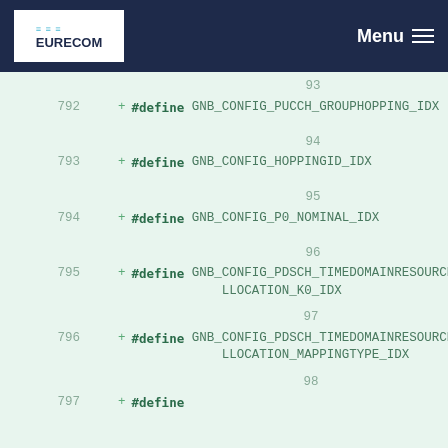EURECOM | Menu
93
792 + #define GNB_CONFIG_PUCCH_GROUPHOPPING_IDX
94
793 + #define GNB_CONFIG_HOPPINGID_IDX
95
794 + #define GNB_CONFIG_P0_NOMINAL_IDX
96
795 + #define GNB_CONFIG_PDSCH_TIMEDOMAINRESOURCEALLOCATION_K0_IDX
97
796 + #define GNB_CONFIG_PDSCH_TIMEDOMAINRESOURCEALLOCATION_MAPPINGTYPE_IDX
98
797 + #define ...